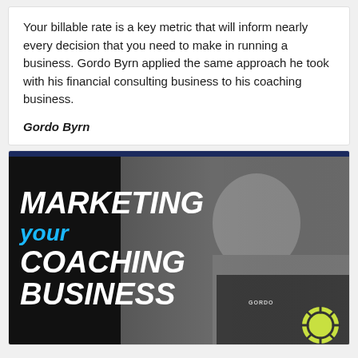Your billable rate is a key metric that will inform nearly every decision that you need to make in running a business. Gordo Byrn applied the same approach he took with his financial consulting business to his coaching business.
Gordo Byrn
[Figure (photo): Promotional image for 'Marketing your Coaching Business' featuring a man in a dark polo shirt against a dark background with the text 'MARKETING your COACHING BUSINESS' overlaid in white and cyan, with a navy bar at top and a yellow-green life ring icon in the bottom right corner.]